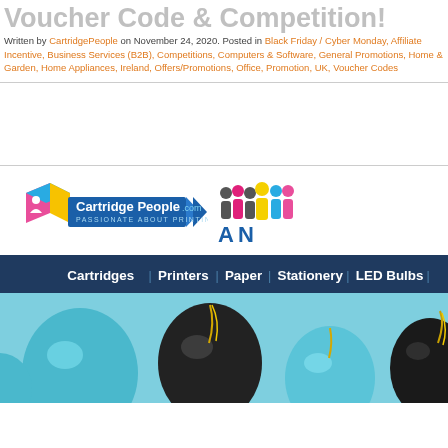Voucher Code & Competition!
Written by CartridgePeople on November 24, 2020. Posted in Black Friday / Cyber Monday, Affiliate Incentive, Business Services (B2B), Competitions, Computers & Software, General Promotions, Home & Garden, Home Appliances, Ireland, Offers/Promotions, Office, Promotion, UK, Voucher Codes
[Figure (logo): CartridgePeople.com — Passionate About Printing logo with colourful cube icon]
[Figure (logo): Partially visible group of coloured people silhouettes logo on right side]
[Figure (infographic): Navy navigation bar with: Cartridges | Printers | Paper | Stationery | LED Bulbs |]
[Figure (photo): Light blue background with teal and black party balloons and gold ribbon confetti]